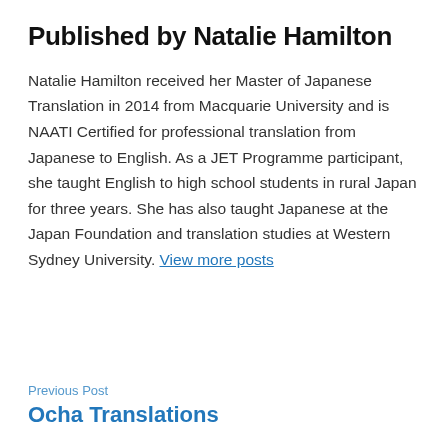Published by Natalie Hamilton
Natalie Hamilton received her Master of Japanese Translation in 2014 from Macquarie University and is NAATI Certified for professional translation from Japanese to English. As a JET Programme participant, she taught English to high school students in rural Japan for three years. She has also taught Japanese at the Japan Foundation and translation studies at Western Sydney University. View more posts
Previous Post
Ocha Translations